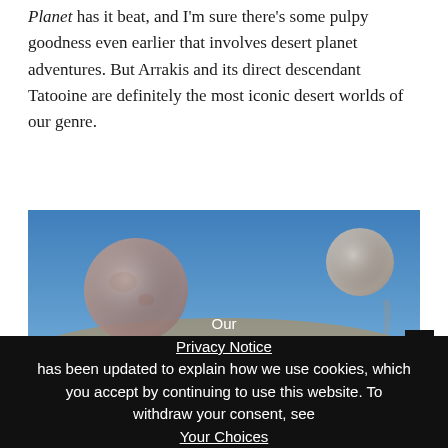Planet has it beat, and I'm sure there's some pulpy goodness even earlier that involves desert planet adventures. But Arrakis and its direct descendant Tatooine are definitely the most iconic desert worlds of our genre.
[Figure (illustration): A science fiction / fantasy desert landscape illustration showing a cloaked figure standing on golden sand dunes with two large moons in a blue sky, evoking Arrakis from Dune or a similar desert planet.]
Our Privacy Notice has been updated to explain how we use cookies, which you accept by continuing to use this website. To withdraw your consent, see Your Choices.